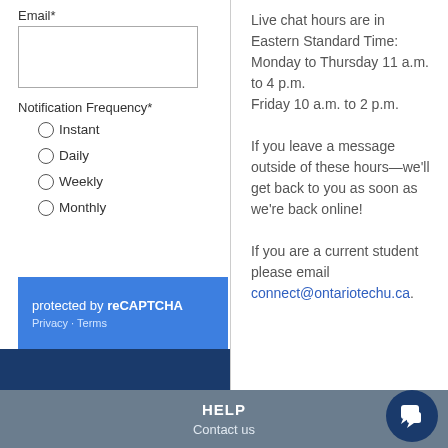Email*
Notification Frequency*
Instant
Daily
Weekly
Monthly
protected by reCAPTCHA
Privacy · Terms
Live chat hours are in Eastern Standard Time:
Monday to Thursday 11 a.m. to 4 p.m.
Friday 10 a.m. to 2 p.m.

If you leave a message outside of these hours—we'll get back to you as soon as we're back online!

If you are a current student please email connect@ontariotechu.ca.
HELP
Contact us